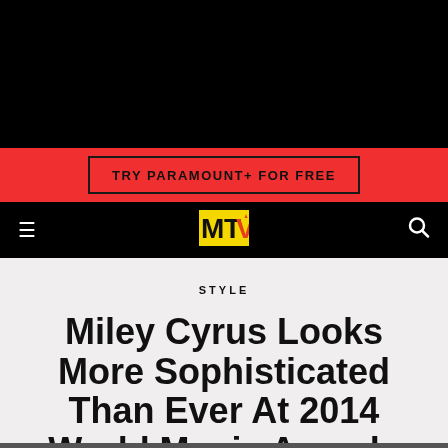[Figure (screenshot): Black background top section of MTV website]
TRY PARAMOUNT+ FOR FREE
[Figure (logo): MTV logo in yellow, red, green on black navigation bar]
STYLE
Miley Cyrus Looks More Sophisticated Than Ever At 2014 World Music Awards